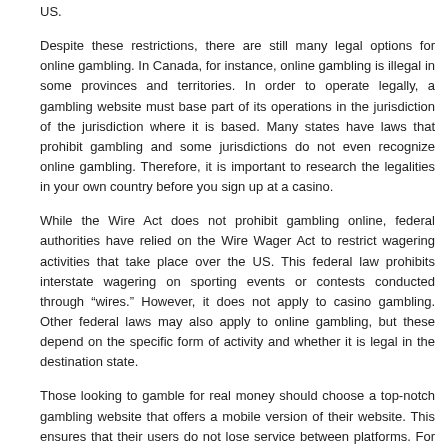US.
Despite these restrictions, there are still many legal options for online gambling. In Canada, for instance, online gambling is illegal in some provinces and territories. In order to operate legally, a gambling website must base part of its operations in the jurisdiction of the jurisdiction where it is based. Many states have laws that prohibit gambling and some jurisdictions do not even recognize online gambling. Therefore, it is important to research the legalities in your own country before you sign up at a casino.
While the Wire Act does not prohibit gambling online, federal authorities have relied on the Wire Wager Act to restrict wagering activities that take place over the US. This federal law prohibits interstate wagering on sporting events or contests conducted through “wires.” However, it does not apply to casino gambling. Other federal laws may also apply to online gambling, but these depend on the specific form of activity and whether it is legal in the destination state.
Those looking to gamble for real money should choose a top-notch gambling website that offers a mobile version of their website. This ensures that their users do not lose service between platforms. For example, they should be able to receive desktop-style bonuses on their smartphones or tablets. Furthermore, great mobile online gambling apps should offer the same games and bonuses as the desktop site. These are only a few of the many advantages of online gambling. However, the downsides are that some websites are more popular than others.
Posted in Betting | No Comments »